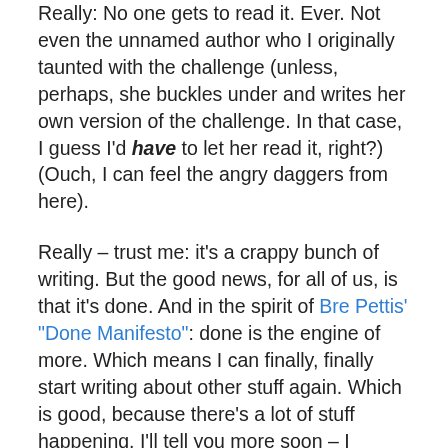Really: No one gets to read it. Ever. Not even the unnamed author who I originally taunted with the challenge (unless, perhaps, she buckles under and writes her own version of the challenge. In that case, I guess I'd have to let her read it, right?) (Ouch, I can feel the angry daggers from here).
Really – trust me: it's a crappy bunch of writing. But the good news, for all of us, is that it's done. And in the spirit of Bre Pettis' "Done Manifesto": done is the engine of more. Which means I can finally, finally start writing about other stuff again. Which is good, because there's a lot of stuff happening. I'll tell you more soon – I promise.
(In unrelated news, the little counter in the MS Word doc I use to draft my Roadtrip posts tells me that I've just crossed 50,000 words since I'd opened this current scratch document, back in Pittsburgh last year. I may be